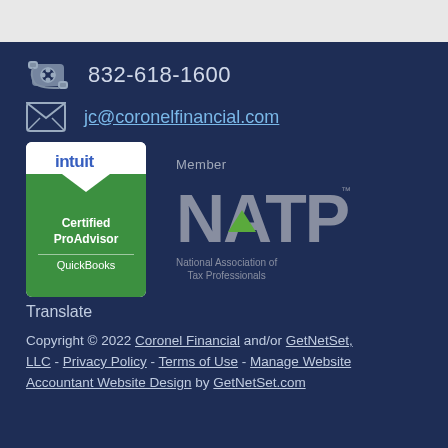832-618-1600
jc@coronelfinancial.com
[Figure (logo): Intuit Certified ProAdvisor QuickBooks badge - white and green logo with chevron design]
[Figure (logo): Member NATP - National Association of Tax Professionals logo in grey tones with green triangle accent]
Translate
Copyright © 2022 Coronel Financial and/or GetNetSet, LLC - Privacy Policy - Terms of Use - Manage Website Accountant Website Design by GetNetSet.com